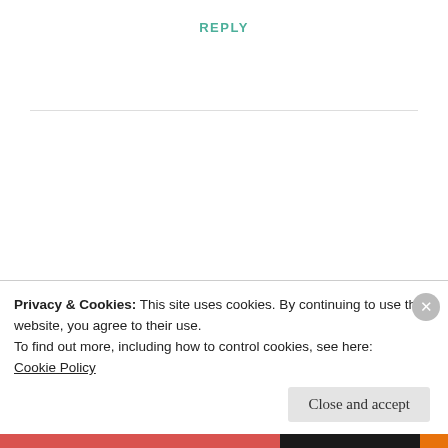REPLY
[Figure (illustration): Blue and white diamond/checker pattern circular avatar for user Tiffanye]
Tiffanye
JULY 22, 2013 AT 3:02 PM
I just listened to Kanye’s “We Major”  As
Privacy & Cookies: This site uses cookies. By continuing to use this website, you agree to their use.
To find out more, including how to control cookies, see here:
Cookie Policy
Close and accept